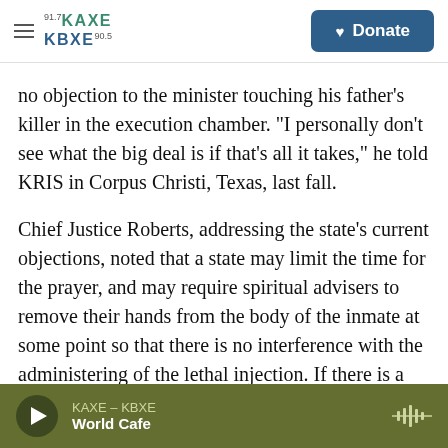KAXE 91.7 / KBXE 90.5 — Donate
no objection to the minister touching his father's killer in the execution chamber. "I personally don't see what the big deal is if that's all it takes," he told KRIS in Corpus Christi, Texas, last fall.
Chief Justice Roberts, addressing the state's current objections, noted that a state may limit the time for the prayer, and may require spiritual advisers to remove their hands from the body of the inmate at some point so that there is no interference with the administering of the lethal injection. If there is a "serious prospect," as the state claimed, that an inmate would smuggle a
KAXE – KBXE | World Cafe